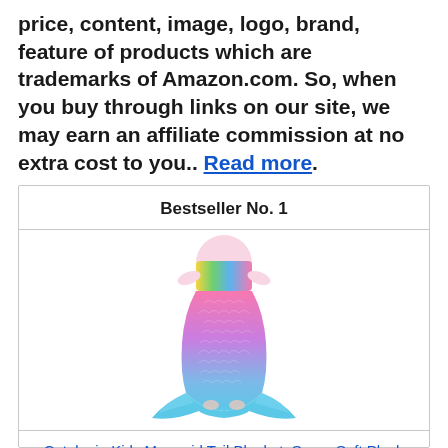price, content, image, logo, brand, feature of products which are trademarks of Amazon.com. So, when you buy through links on our site, we may earn an affiliate commission at no extra cost to you.. Read more.
Bestseller No. 1
[Figure (photo): A child wearing a colorful rainbow mermaid tail blanket, shown from the waist down. The blanket has a quilted scale pattern in pink, purple, and blue gradient colors with a blue fin at the bottom.]
Catalonia Kids Mermaid Tail Blanket, Super Soft Plush Flannel Sleeping Snuggle Blanket